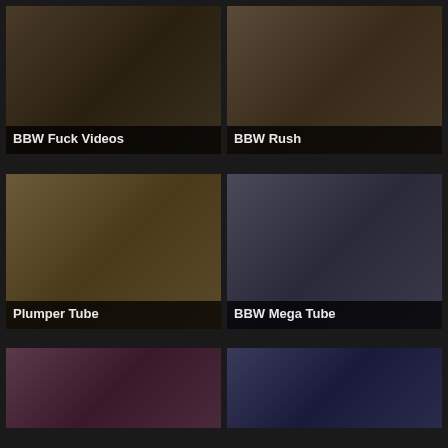[Figure (photo): Thumbnail image for BBW Fuck Videos]
BBW Fuck Videos
[Figure (photo): Thumbnail image for BBW Rush]
BBW Rush
[Figure (photo): Thumbnail image for Plumper Tube]
Plumper Tube
[Figure (photo): Thumbnail image for BBW Mega Tube]
BBW Mega Tube
[Figure (photo): Thumbnail image bottom left, partially visible]
[Figure (photo): Thumbnail image bottom right, partially visible]